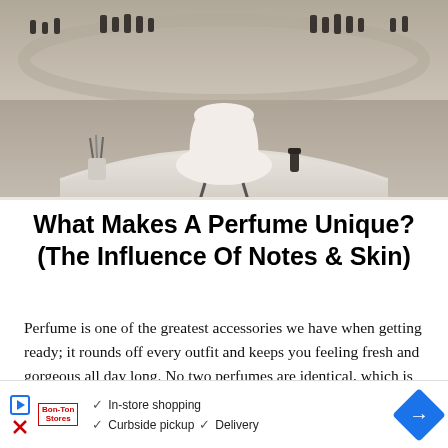[Figure (photo): Interior of a perfume boutique showing a curved white desk/counter with a modern white chair and perfume bottles arranged around the space]
What Makes A Perfume Unique? (The Influence Of Notes & Skin)
Perfume is one of the greatest accessories we have when getting ready; it rounds off every outfit and keeps you feeling fresh and gorgeous all day long. No two perfumes are identical, which is why we…
CONTINUE READING
[Figure (infographic): Advertisement bar showing a store logo with play/close icons, checkmarks for In-store shopping, Curbside pickup, Delivery, and a blue diamond arrow icon]